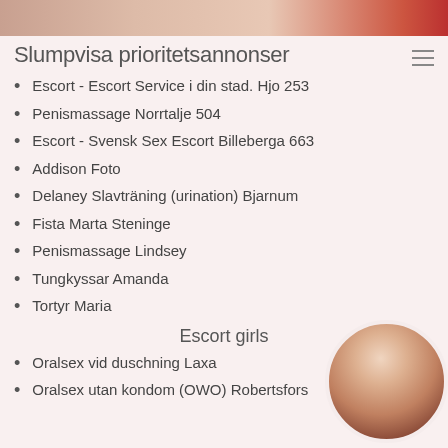[Figure (photo): Top banner image showing partial view of a person]
Slumpvisa prioritetsannonser
Escort - Escort Service i din stad. Hjo 253
Penismassage Norrtalje 504
Escort - Svensk Sex Escort Billeberga 663
Addison Foto
Delaney Slavträning (urination) Bjarnum
Fista Marta Steninge
Penismassage Lindsey
Tungkyssar Amanda
Tortyr Maria
Escort girls
[Figure (photo): Circular portrait photo of a blonde woman]
Oralsex vid duschning Laxa
Oralsex utan kondom (OWO) Robertsfors